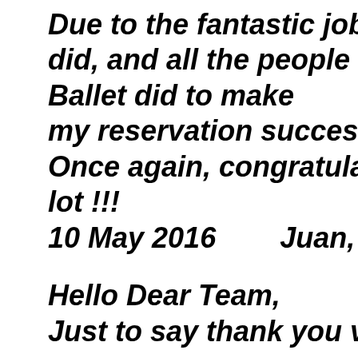Due to the fantastic job you did, and all the people from Opera Ballet did to make my reservation successful. Once again, congratulation and lot !!! 10 May 2016    Juan, Argentina
Hello Dear Team, Just to say thank you very much